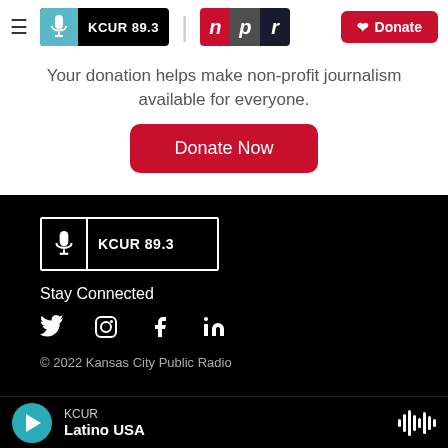[Figure (logo): KCUR 89.3 and NPR logos in navigation bar with Donate button]
Your donation helps make non-profit journalism available for everyone.
Donate Now
[Figure (logo): KCUR 89.3 logo in white outline box on black background]
Stay Connected
[Figure (infographic): Social media icons: Twitter, Instagram, Facebook, LinkedIn]
© 2022 Kansas City Public Radio
KCUR
Latino USA